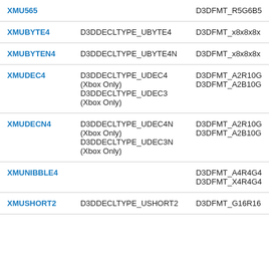| Type | D3D Declaration Type | D3D Format |
| --- | --- | --- |
| XMU565 |  | D3DFMT_R5G6B5 |
| XMUBYTE4 | D3DDECLTYPE_UBYTE4 | D3DFMT_x8x8x8x |
| XMUBYTEN4 | D3DDECLTYPE_UBYTE4N | D3DFMT_x8x8x8x |
| XMUDEC4 | D3DDECLTYPE_UDEC4 (Xbox Only) D3DDECLTYPE_UDEC3 (Xbox Only) | D3DFMT_A2R10G D3DFMT_A2B10G |
| XMUDECN4 | D3DDECLTYPE_UDEC4N (Xbox Only) D3DDECLTYPE_UDEC3N (Xbox Only) | D3DFMT_A2R10G D3DFMT_A2B10G |
| XMUNIBBLE4 |  | D3DFMT_A4R4G4 D3DFMT_X4R4G4 |
| XMUSHORT2 | D3DDECLTYPE_USHORT2 | D3DFMT_G16R16 |